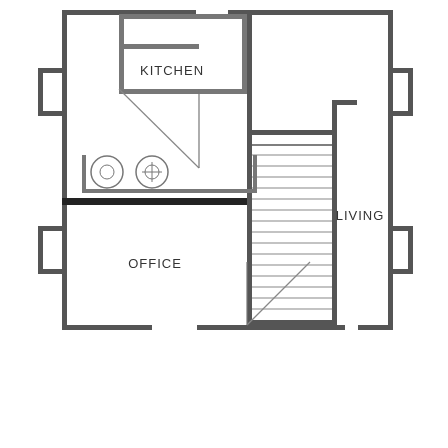[Figure (schematic): Architectural floor plan showing Kitchen, Office, Living areas with staircase, appliances (sink, stovetop), and door openings indicated by diagonal lines.]